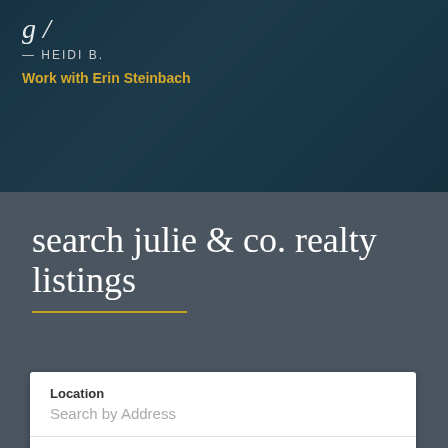— HEIDI B.
Work with Erin Steinbach
search julie & co. realty listings
Location
Search by Address
Type